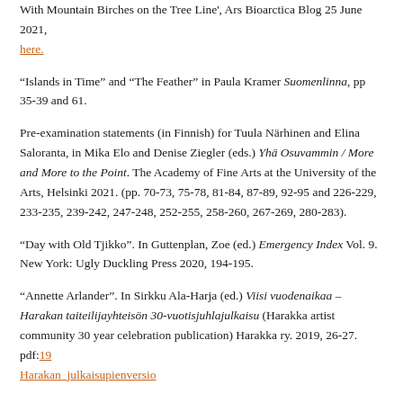With Mountain Birches on the Tree Line', Ars Bioarctica Blog 25 June 2021, here.
“Islands in Time” and “The Feather” in Paula Kramer Suomenlinna, pp 35-39 and 61.
Pre-examination statements (in Finnish) for Tuula Närhinen and Elina Saloranta, in Mika Elo and Denise Ziegler (eds.) Yhä Osuvammin / More and More to the Point. The Academy of Fine Arts at the University of the Arts, Helsinki 2021. (pp. 70-73, 75-78, 81-84, 87-89, 92-95 and 226-229, 233-235, 239-242, 247-248, 252-255, 258-260, 267-269, 280-283).
“Day with Old Tjikko”. In Guttenplan, Zoe (ed.) Emergency Index Vol. 9. New York: Ugly Duckling Press 2020, 194-195.
“Annette Arlander”. In Sirkku Ala-Harja (ed.) Viisi vuodenaikaa – Harakan taiteilijayhteisön 30-vuotisjuhlajulkaisu (Harakka artist community 30 year celebration publication) Harakka ry. 2019, 26-27. pdf:19 Harakan_julkaisupienversio